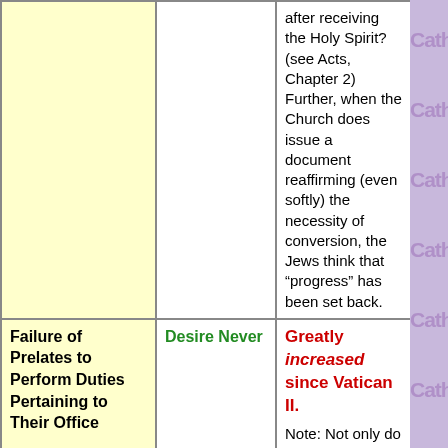|  |  |  |
| --- | --- | --- |
|  |  | after receiving the Holy Spirit? (see Acts, Chapter 2) Further, when the Church does issue a document reaffirming (even softly) the necessity of conversion, the Jews think that "progress" has been set back. |
| Failure of Prelates to Perform Duties Pertaining to Their Office | Desire Never | Greatly increased since Vatican II.

Note: Not only do prelates often fail to perform their duties, but they may not even know what |